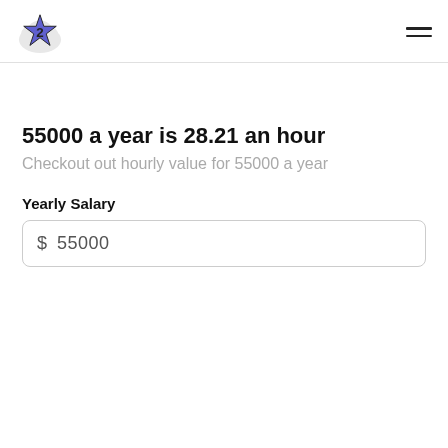55000 a year is 28.21 an hour
Checkout out hourly value for 55000 a year
Yearly Salary
$ 55000